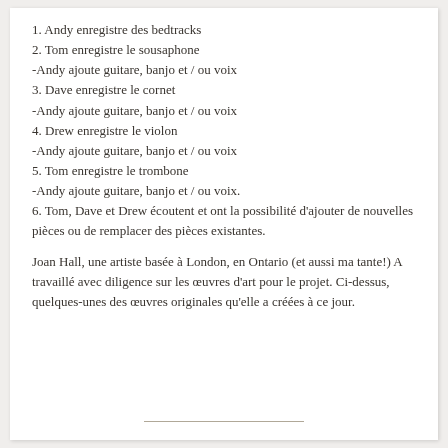1. Andy enregistre des bedtracks
2. Tom enregistre le sousaphone
-Andy ajoute guitare, banjo et / ou voix
3. Dave enregistre le cornet
-Andy ajoute guitare, banjo et / ou voix
4. Drew enregistre le violon
-Andy ajoute guitare, banjo et / ou voix
5. Tom enregistre le trombone
-Andy ajoute guitare, banjo et / ou voix.
6. Tom, Dave et Drew écoutent et ont la possibilité d'ajouter de nouvelles pièces ou de remplacer des pièces existantes.
Joan Hall, une artiste basée à London, en Ontario (et aussi ma tante!) A travaillé avec diligence sur les œuvres d'art pour le projet. Ci-dessus, quelques-unes des œuvres originales qu'elle a créées à ce jour.